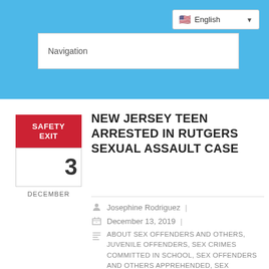Navigation
[Figure (screenshot): English language selector dropdown with US flag]
NEW JERSEY TEEN ARRESTED IN RUTGERS SEXUAL ASSAULT CASE
Josephine Rodriguez | December 13, 2019 | ABOUT SEX OFFENDERS AND OTHERS, JUVENILE OFFENDERS, SEX CRIMES COMMITTED IN SCHOOL, SEX OFFENDERS AND OTHERS APPREHENDED, SEX OFFENDERS AND OTHERS COMMITTING